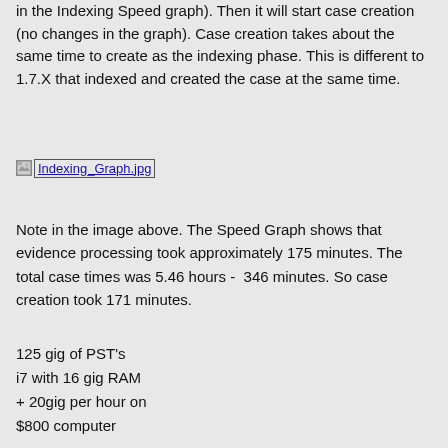in the Indexing Speed graph). Then it will start case creation (no changes in the graph). Case creation takes about the same time to create as the indexing phase. This is different to 1.7.X that indexed and created the case at the same time.
[Figure (other): Broken image placeholder showing 'Indexing_Graph.jpg' as a linked image reference]
Note in the image above. The Speed Graph shows that evidence processing took approximately 175 minutes. The total case times was 5.46 hours - 346 minutes. So case creation took 171 minutes.
125 gig of PST's
i7 with 16 gig RAM
+ 20gig per hour on
$800 computer